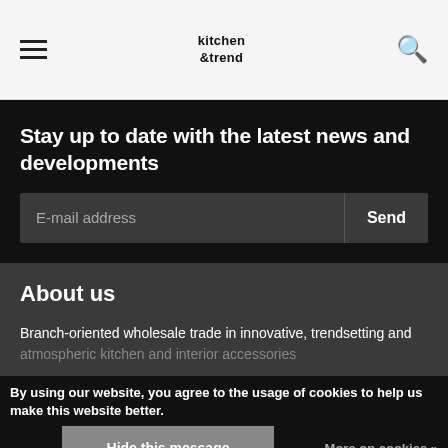kitchen & trend
Stay up to date with the latest news and developments
E-mail address
About us
Branch-oriented wholesale trade in innovative, trendsetting and atmospheric kitchen and interior accessories
By using our website, you agree to the usage of cookies to help us make this website better.
Hide this message
More on cookies »